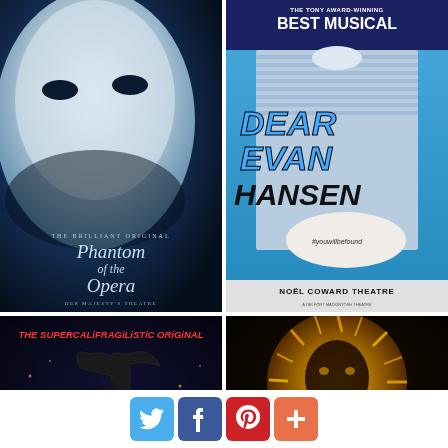[Figure (photo): Phantom of the Opera theatrical poster showing a white mask on blue background with text 'The Brilliant Original Phantom of the Opera, Her Majesty's Theatre']
[Figure (photo): Dear Evan Hansen musical poster with 'The Tony Award-Winning Best Musical', blue and white striped shirt, #youwillbefound on cast, Noel Coward Theatre]
[Figure (photo): Mary Poppins musical poster with text 'The Supercalifragilistic Original' in red, Disney and Cameron Mackintosh, dark background with umbrella silhouette]
[Figure (photo): The Lion King musical poster showing golden lion image on dark background]
[Figure (infographic): Social sharing buttons row: Twitter (blue bird), Facebook (f), Pinterest (P), and a plus/more button (orange)]